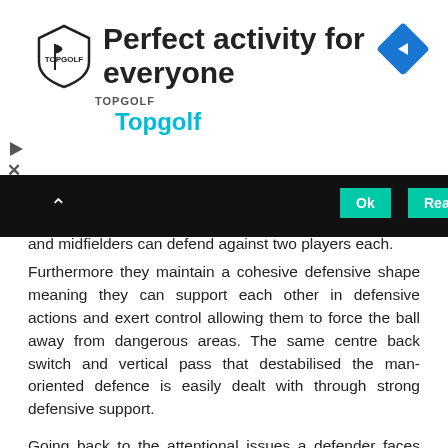[Figure (screenshot): Advertisement banner for Topgolf showing logo, title 'Perfect activity for everyone', cyan subtitle 'Topgolf', and a blue diamond navigation icon on the right.]
and midfielders can defend against two players each.
Furthermore they maintain a cohesive defensive shape meaning they can support each other in defensive actions and exert control allowing them to force the ball away from dangerous areas. The same centre back switch and vertical pass that destabilised the man-oriented defence is easily dealt with through strong defensive support.
Going back to the attentional issues a defender faces with players positioned on their blind side, there are ways around this on both an individual and collective level. Psychological research has shown that training allows the automatization of processes which in turn means the tasks will require less attention. With less training, defenders may require a longer time to recognise their opponents' positioning and align themselves in the desired manner. Whereas a highly trained individual who has learned the skill of shoulder checking will take far less time and far less